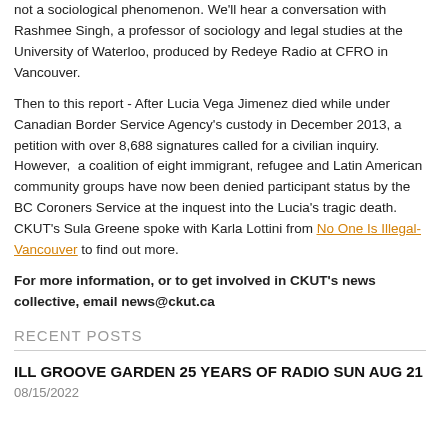not a sociological phenomenon. We'll hear a conversation with Rashmee Singh, a professor of sociology and legal studies at the University of Waterloo, produced by Redeye Radio at CFRO in Vancouver.
Then to this report - After Lucia Vega Jimenez died while under Canadian Border Service Agency's custody in December 2013, a petition with over 8,688 signatures called for a civilian inquiry. However, a coalition of eight immigrant, refugee and Latin American community groups have now been denied participant status by the BC Coroners Service at the inquest into the Lucia's tragic death. CKUT's Sula Greene spoke with Karla Lottini from No One Is Illegal-Vancouver to find out more.
For more information, or to get involved in CKUT's news collective, email news@ckut.ca
RECENT POSTS
ILL GROOVE GARDEN 25 YEARS OF RADIO SUN AUG 21
08/15/2022